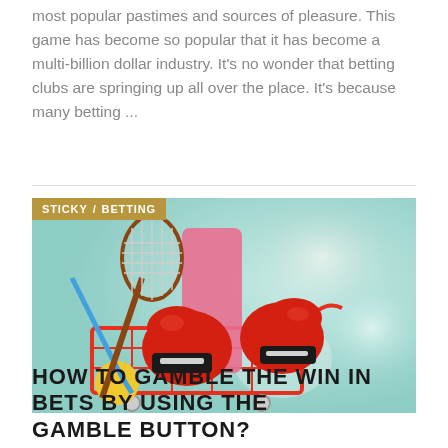most popular pastimes and sources of pleasure. This game has become so popular that it has become a multi-billion dollar industry. It's no wonder that betting clubs are springing up all over the place. It's because many betting ...
[Figure (photo): A shopping cart filled with sports equipment including red boxing gloves, a tennis racket, a pink yoga mat, and other sports gear, set against a blurred colorful background. A badge overlay reads STICKY / BETTING.]
HOW TO GAMBLE THE WIN IN BETS BY USING THE GAMBLE BUTTON?